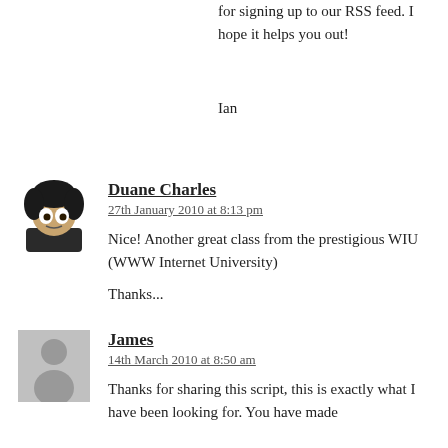for signing up to our RSS feed. I hope it helps you out!
Ian
Duane Charles
27th January 2010 at 8:13 pm
Nice! Another great class from the prestigious WIU (WWW Internet University)
Thanks...
James
14th March 2010 at 8:50 am
Thanks for sharing this script, this is exactly what I have been looking for. You have made